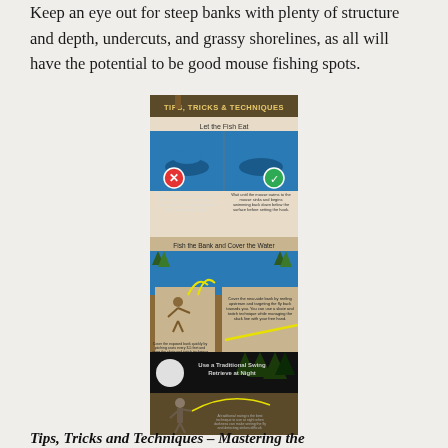Keep an eye out for steep banks with plenty of structure and depth, undercuts, and grassy shorelines, as all will have the potential to be good mouse fishing spots.
[Figure (infographic): An infographic titled 'Tips, Tricks & Techniques' showing three fishing technique panels: 'Let the Fish Eat' with right/wrong illustrations of fish taking fly, 'Fish the Bank and Cover the Water' with an angler casting along a bank, and 'Use a Traditional Swing Retrieve at Night' with a night scene of an angler swinging a fly.]
Tips, Tricks and Techniques – Mastering the